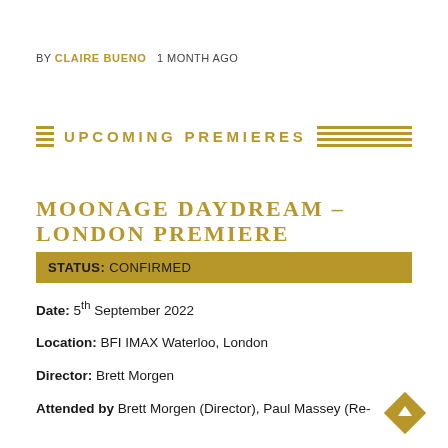BY CLAIRE BUENO   1 MONTH AGO
UPCOMING PREMIERES
MOONAGE DAYDREAM – LONDON PREMIERE
STATUS: CONFIRMED
Date: 5th September 2022
Location: BFI IMAX Waterloo, London
Director: Brett Morgen
Attended by Brett Morgen (Director), Paul Massey (Re-